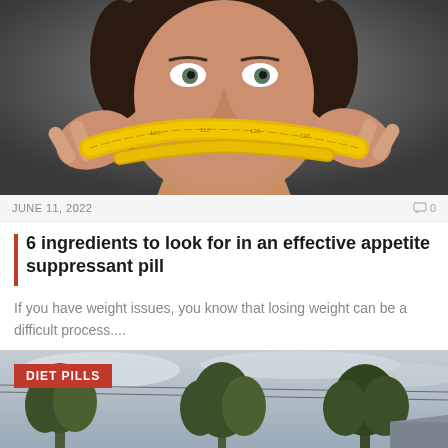[Figure (photo): Woman holding a yellow measuring tape across her mouth, looking straight at camera, dark background]
JUNE 11, 2022
0
6 ingredients to look for in an effective appetite suppressant pill
If you have weight issues, you know that losing weight can be a difficult process....
[Figure (photo): Outdoor scene with trees against cloudy sky, with a red 'DIET PILLS' label overlay in the top-left corner]